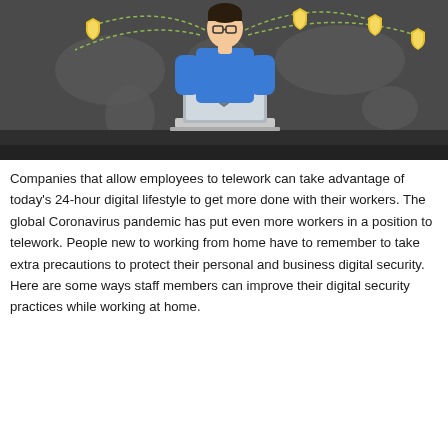[Figure (illustration): Dark-themed illustration of a person sitting at a desk using a laptop with a security shield icon on it. The background shows a world map with dotted lines and gold shield/lock icons connected by arcs, representing global cybersecurity and remote work connectivity.]
Companies that allow employees to telework can take advantage of today's 24-hour digital lifestyle to get more done with their workers. The global Coronavirus pandemic has put even more workers in a position to telework. People new to working from home have to remember to take extra precautions to protect their personal and business digital security. Here are some ways staff members can improve their digital security practices while working at home.